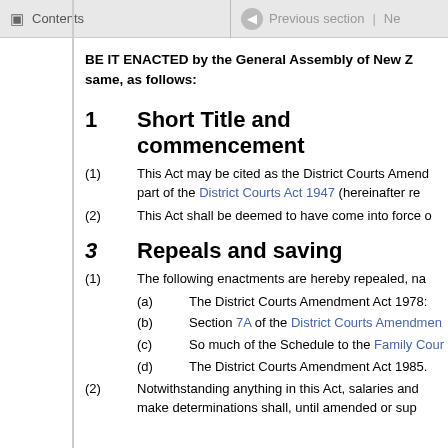Contents | Previous section | Ne
BE IT ENACTED by the General Assembly of New Z... same, as follows:
1  Short Title and commencement
(1) This Act may be cited as the District Courts Amend... part of the District Courts Act 1947 (hereinafter re...
(2) This Act shall be deemed to have come into force o...
3  Repeals and saving
(1) The following enactments are hereby repealed, na...
(a) The District Courts Amendment Act 1978:
(b) Section 7A of the District Courts Amendmen...
(c) So much of the Schedule to the Family Cour...
(d) The District Courts Amendment Act 1985.
(2) Notwithstanding anything in this Act, salaries and ... make determinations shall, until amended or sup...